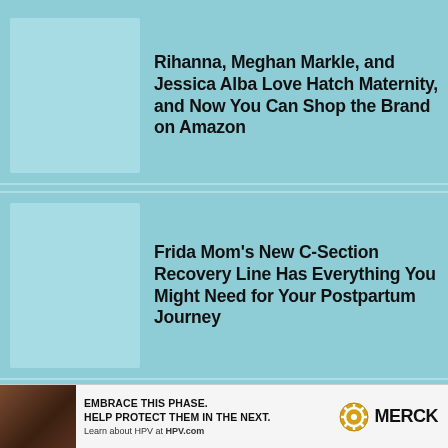Rihanna, Meghan Markle, and Jessica Alba Love Hatch Maternity, and Now You Can Shop the Brand on Amazon
Frida Mom's New C-Section Recovery Line Has Everything You Might Need for Your Postpartum Journey
The Ramzi Theory: Can It Really Predict Your Baby's Biological Sex?
[Figure (infographic): Merck HPV advertisement banner: 'EMBRACE THIS PHASE. HELP PROTECT THEM IN THE NEXT. Learn about HPV at HPV.com' with Merck logo and photo of parent with child]